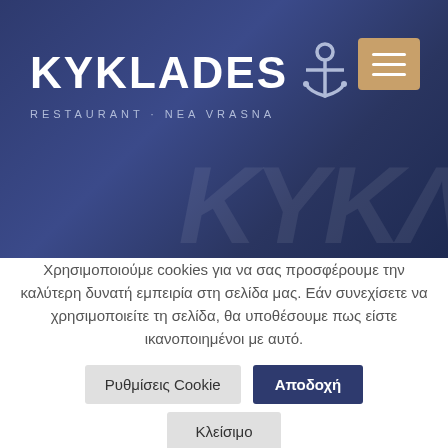[Figure (screenshot): Restaurant website hero section with dark navy blue background, KYKLADES logo with anchor icon on the left, hamburger menu button (tan/gold color) on the right, and a watermark text visible in the lower right. Subtitle reads RESTAURANT · NEA VRASNA.]
Χρησιμοποιούμε cookies για να σας προσφέρουμε την καλύτερη δυνατή εμπειρία στη σελίδα μας. Εάν συνεχίσετε να χρησιμοποιείτε τη σελίδα, θα υποθέσουμε πως είστε ικανοποιημένοι με αυτό.
Ρυθμίσεις Cookie
Αποδοχή
Κλείσιμο